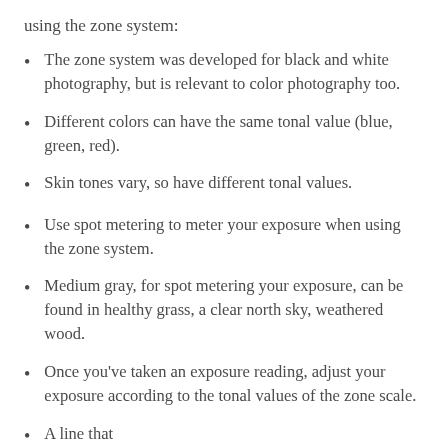using the zone system:
The zone system was developed for black and white photography, but is relevant to color photography too.
Different colors can have the same tonal value (blue, green, red).
Skin tones vary, so have different tonal values.
Use spot metering to meter your exposure when using the zone system.
Medium gray, for spot metering your exposure, can be found in healthy grass, a clear north sky, weathered wood.
Once you've taken an exposure reading, adjust your exposure according to the tonal values of the zone scale.
A line that...